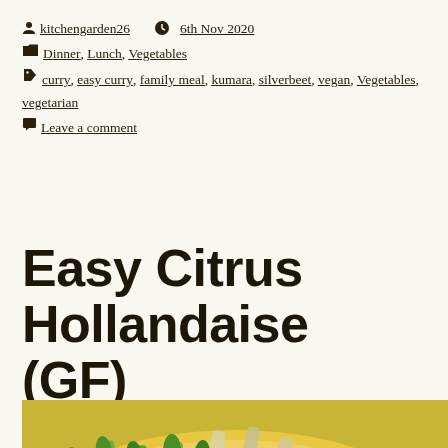kitchengarden26  6th Nov 2020  Dinner, Lunch, Vegetables  curry, easy curry, family meal, kumara, silverbeet, vegan, Vegetables, vegetarian  Leave a comment
Easy Citrus Hollandaise (GF)
[Figure (photo): Photo of asparagus and other vegetables covered in a golden hollandaise sauce on a white plate]